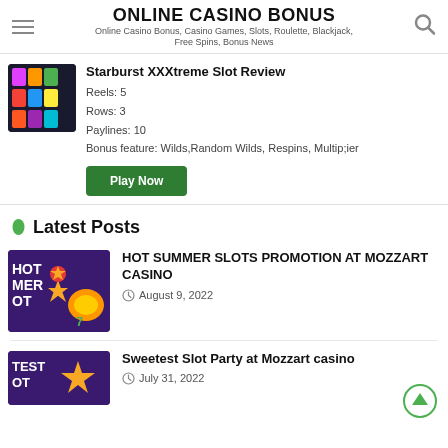ONLINE CASINO BONUS
Online Casino Bonus, Casino Games, Slots, Roulette, Blackjack, Free Spins, Bonus News
Starburst XXXtreme Slot Review
Reels: 5
Rows: 3
Paylines: 10
Bonus feature: Wilds,Random Wilds, Respins, Multip;ier
Latest Posts
HOT SUMMER SLOTS PROMOTION AT MOZZART CASINO
August 9, 2022
Sweetest Slot Party at Mozzart casino
July 31, 2022